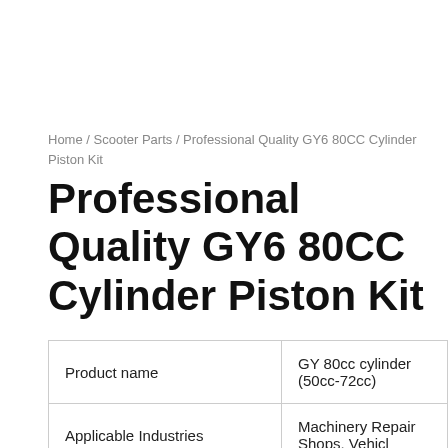Home / Scooter Parts / Professional Quality GY6 80CC Cylinder Piston Kit
Professional Quality GY6 80CC Cylinder Piston Kit
|  |  |
| --- | --- |
| Product name | GY 80cc cylinder (50cc-72cc) |
| Applicable Industries | Machinery Repair Shops, Vehicl... |
| Standard or Nonstandard | Standard |
| Structure | Piston Cylinder |